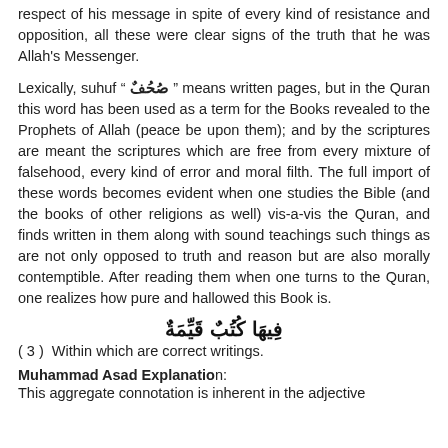respect of his message in spite of every kind of resistance and opposition, all these were clear signs of the truth that he was Allah's Messenger.
Lexically, suhuf " صُحُفٌ " means written pages, but in the Quran this word has been used as a term for the Books revealed to the Prophets of Allah (peace be upon them); and by the scriptures are meant the scriptures which are free from every mixture of falsehood, every kind of error and moral filth. The full import of these words becomes evident when one studies the Bible (and the books of other religions as well) vis-a-vis the Quran, and finds written in them along with sound teachings such things as are not only opposed to truth and reason but are also morally contemptible. After reading them when one turns to the Quran, one realizes how pure and hallowed this Book is.
فِيهَا كُتُبٌ قَيِّمَةٌ
( 3 )  Within which are correct writings.
Muhammad Asad Explanation:
This aggregate connotation is inherent in the adjective